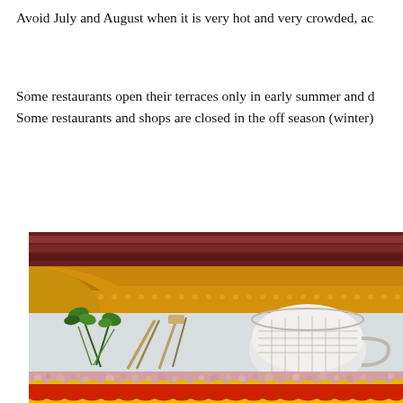Avoid July and August when it is very hot and very crowded, ac
Some restaurants open their terraces only in early summer and d Some restaurants and shops are closed in the off season (winter)
[Figure (photo): Close-up photograph of a decorative ceramic or painted tile/plate showing a golden ornate border frame with maroon interior at top, and below a scene with green plants/herbs, kitchen tools (tongs/spatula), a white bowl with grid pattern, and a lower band with red and yellow scalloped decorative pattern.]